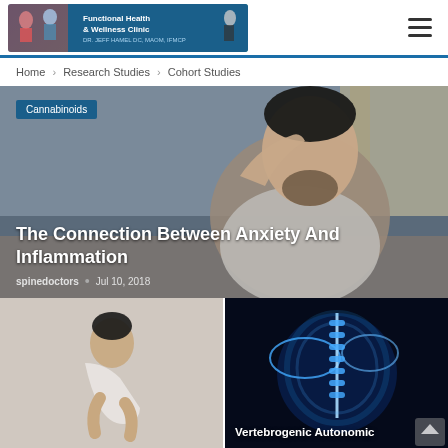[Figure (photo): Functional Health & Wellness Clinic banner logo with people figures]
Home > Research Studies > Cohort Studies
[Figure (photo): Man sitting on couch holding his head in distress, article hero image for 'The Connection Between Anxiety And Inflammation']
Cannabinoids
The Connection Between Anxiety And Inflammation
spinedoctors  •  Jul 10, 2018
[Figure (photo): Person hunched over in back pain, lower left thumbnail]
[Figure (photo): Glowing blue X-ray style image of spine and shoulder, right thumbnail with text 'Vertebrogenic Autonomic']